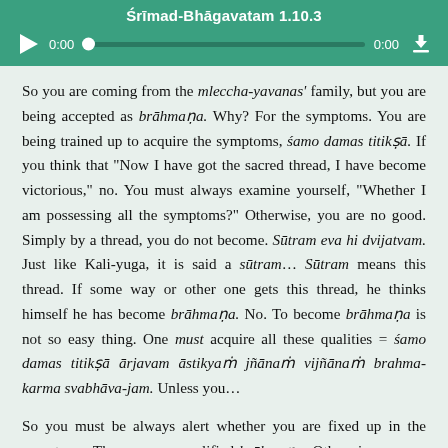[Figure (screenshot): Audio player with teal/green background showing title 'Śrīmad-Bhāgavatam 1.10.3', play button, progress bar, time stamps 0:00 and 0:00, and download button]
So you are coming from the mleccha-yavanas' family, but you are being accepted as brāhmaṇa. Why? For the symptoms. You are being trained up to acquire the symptoms, śamo damas titikṣā. If you think that "Now I have got the sacred thread, I have become victorious," no. You must always examine yourself, "Whether I am possessing all the symptoms?" Otherwise, you are no good. Simply by a thread, you do not become. Sūtram eva hi dvijatvam. Just like Kali-yuga, it is said a sūtram... Sūtram means this thread. If some way or other one gets this thread, he thinks himself he has become brāhmaṇa. No. To become brāhmaṇa is not so easy thing. One must acquire all these qualities = śamo damas titikṣā ārjavam āstikyaṁ jñānaṁ vijñānaṁ brahma-karma svabhāva-jam. Unless you...
So you must be always alert whether you are fixed up in the symptoms. Then you are qualified brāhmaṇa. Otherwise you are again the same category as in India. Some of them, they are simply claiming to become brāhmaṇa on account of being born in a